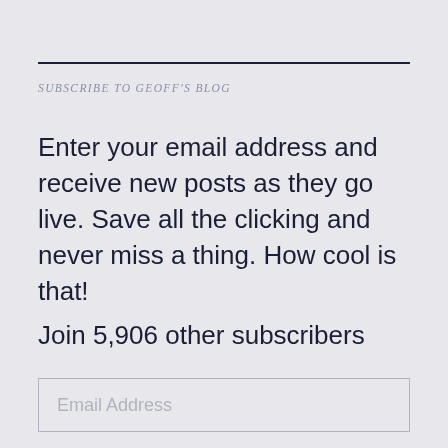SUBSCRIBE TO GEOFF'S BLOG
Enter your email address and receive new posts as they go live. Save all the clicking and never miss a thing. How cool is that!
Join 5,906 other subscribers
Email Address